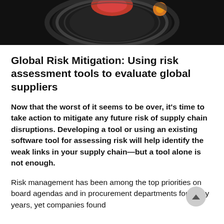[Figure (photo): Close-up photo of a dark background with red and orange circular shapes resembling warning or danger indicators, likely a camera lens or signal light.]
Global Risk Mitigation: Using risk assessment tools to evaluate global suppliers
Now that the worst of it seems to be over, it’s time to take action to mitigate any future risk of supply chain disruptions. Developing a tool or using an existing software tool for assessing risk will help identify the weak links in your supply chain—but a tool alone is not enough.
Risk management has been among the top priorities on board agendas and in procurement departments for many years, yet companies found